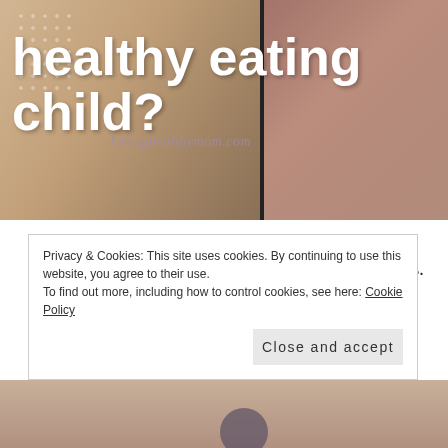[Figure (photo): Hero banner image with two photos of children eating fruit/veggies, with 'healthy eating child?' text overlay and 'Livinghealthymom.com' watermark]
Almost everyone who meets my daughter, gets mesmerized by the way she eats her fruits and veggies. I will never forget, when she was a little over a year old, and she knew just enough words to tell us what she wanted. One day we had a couple of our friends over for dinner. As always … Continue reading
Privacy & Cookies: This site uses cookies. By continuing to use this website, you agree to their use.
To find out more, including how to control cookies, see here: Cookie Policy
Close and accept